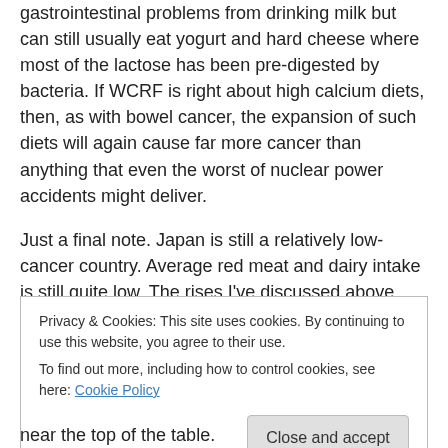gastrointestinal problems from drinking milk but can still usually eat yogurt and hard cheese where most of the lactose has been pre-digested by bacteria. If WCRF is right about high calcium diets, then, as with bowel cancer, the expansion of such diets will again cause far more cancer than anything that even the worst of nuclear power accidents might deliver.
Just a final note. Japan is still a relatively low-cancer country. Average red meat and dairy intake is still quite low. The rises I've discussed above (liver cancer is up
Privacy & Cookies: This site uses cookies. By continuing to use this website, you agree to their use. To find out more, including how to control cookies, see here: Cookie Policy
Close and accept
near the top of the table.